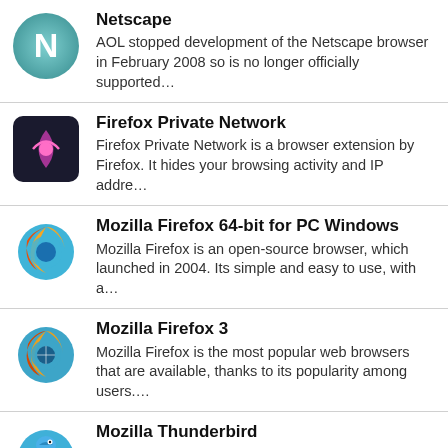Netscape
AOL stopped development of the Netscape browser in February 2008 so is no longer officially supported…
Firefox Private Network
Firefox Private Network is a browser extension by Firefox. It hides your browsing activity and IP addre…
Mozilla Firefox 64-bit for PC Windows
Mozilla Firefox is an open-source browser, which launched in 2004. Its simple and easy to use, with a…
Mozilla Firefox 3
Mozilla Firefox is the most popular web browsers that are available, thanks to its popularity among users.…
Mozilla Thunderbird
Mozilla Thunderbird makes e-mailing safer, faster, and easier with features such as intelligent spam…
uTorrent Beta
Bittorrent, also known as UTTER TIE, is a powerful and popular Bittorrent client. UTTER TIE does…